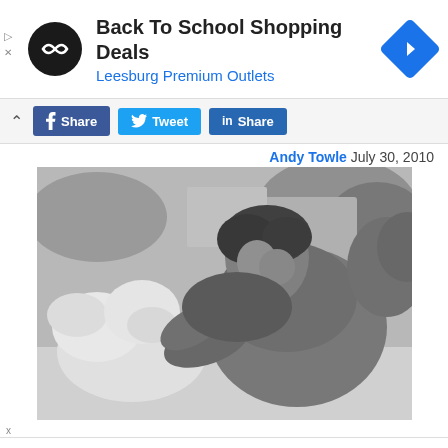[Figure (infographic): Advertisement banner: Back To School Shopping Deals, Leesburg Premium Outlets, with loop logo and blue diamond arrow]
[Figure (infographic): Social share buttons: Facebook Share, Twitter Tweet, LinkedIn Share]
Andy Towle July 30, 2010
[Figure (photo): Black and white photo of a shirtless man with curly hair leaning toward a white dog outdoors]
[Figure (infographic): Advertisement banner: Back To School Essentials, Leesburg Premium Outlets, with loop logo and blue diamond arrow]